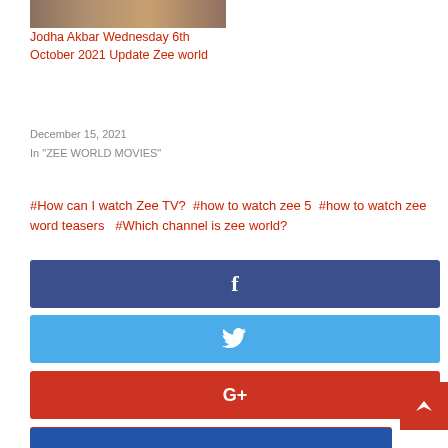[Figure (photo): Thumbnail image of a group of people]
Jodha Akbar Wednesday 6th October 2021 Update Zee world
December 15, 2021
In "ZEE WORLD MOVIES"
#How can I watch Zee TV?  #how to watch zee 5  #how to watch zee word teasers   #Which channel is zee world?
[Figure (infographic): Facebook share button]
[Figure (infographic): Twitter share button]
[Figure (infographic): Google+ share button]
[Figure (infographic): Pinterest share button]
[Figure (infographic): LinkedIn share button (partially visible)]